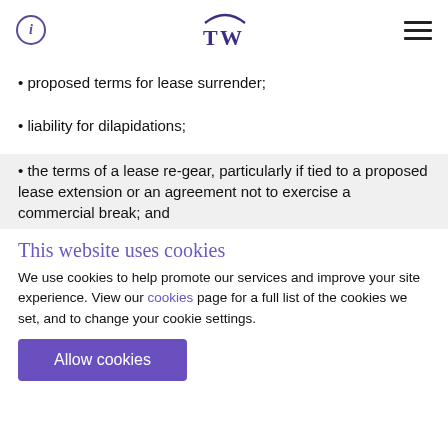TW logo with info icon and navigation menu
proposed terms for lease surrender;
liability for dilapidations;
the terms of a lease re-gear, particularly if tied to a proposed lease extension or an agreement not to exercise a commercial break; and
This website uses cookies
We use cookies to help promote our services and improve your site experience. View our cookies page for a full list of the cookies we set, and to change your cookie settings.
Allow cookies